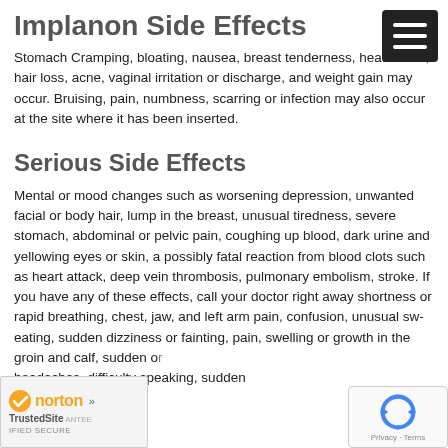Implanon Side Effects
Stomach Cramping, bloating, nausea, breast tenderness, headaches, hair loss, acne, vaginal irritation or discharge, and weight gain may occur. Bruising, pain, numbness, scarring or infection may also occur at the site where it has been inserted.
Serious Side Effects
Mental or mood changes such as worsening depression, unwanted facial or body hair, lump in the breast, unusual tiredness, severe stomach, abdominal or pelvic pain, coughing up blood, dark urine and yellowing eyes or skin, a possibly fatal reaction from blood clots such as heart attack, deep vein thrombosis, pulmonary embolism, stroke. If you have any of these effects, call your doctor right away shortness or rapid breathing, chest, jaw, and left arm pain, confusion, unusual sweating, sudden dizziness or fainting, pain, swelling or growth in the groin and calf, sudden onset headaches, difficulty speaking, sudden...